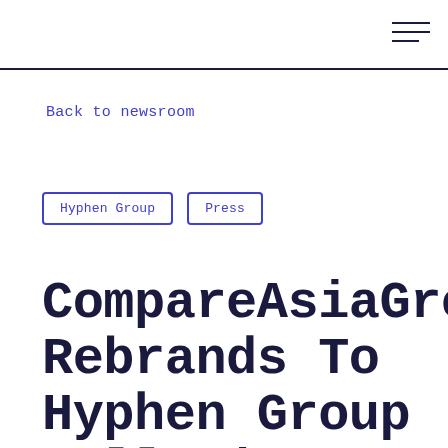Back to newsroom
Hyphen Group
Press
CompareAsiaGroup Rebrands To Hyphen Group Following Impressive Growth